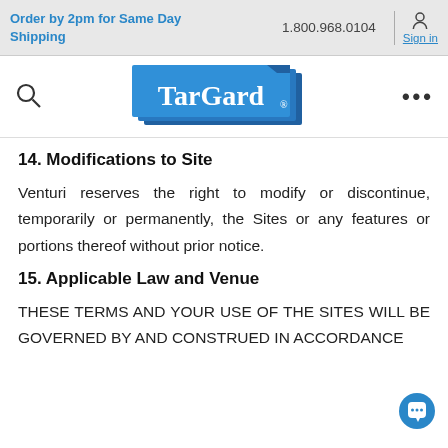Order by 2pm for Same Day Shipping  1.800.968.0104  Sign in
[Figure (logo): TarGard brand logo with blue layered rectangles and white serif text]
14. Modifications to Site
Venturi reserves the right to modify or discontinue, temporarily or permanently, the Sites or any features or portions thereof without prior notice.
15. Applicable Law and Venue
THESE TERMS AND YOUR USE OF THE SITES WILL BE GOVERNED BY AND CONSTRUED IN ACCORDANCE